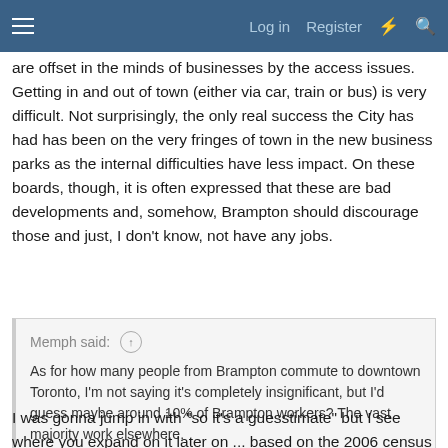Log in   Register
are offset in the minds of businesses by the access issues. Getting in and out of town (either via car, train or bus) is very difficult. Not surprisingly, the only real success the City has had has been on the very fringes of town in the new business parks as the internal difficulties have less impact. On these boards, though, it is often expressed that these are bad developments and, somehow, Brampton should discourage those and just, I don't know, not have any jobs.
Memph said: ↑
As for how many people from Brampton commute to downtown Toronto, I'm not saying it's completely insignificant, but I'd guess maybe around 10% of Brampton workers? The vast majority work elsewhere.
I was gonna jump in with "so it's a guesstimate" but I see where you expand on it later on ... based on the 2006 census (I guess